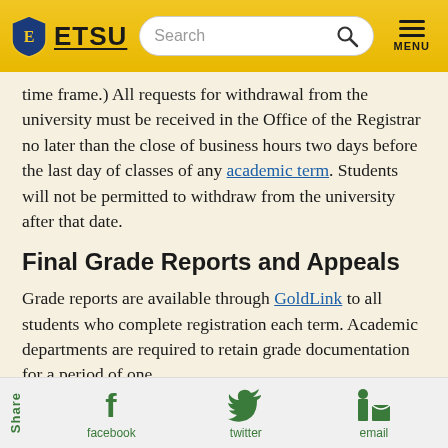ETSU [logo] Search MENU
time frame.) All requests for withdrawal from the university must be received in the Office of the Registrar no later than the close of business hours two days before the last day of classes of any academic term. Students will not be permitted to withdraw from the university after that date.
Final Grade Reports and Appeals
Grade reports are available through GoldLink to all students who complete registration each term. Academic departments are required to retain grade documentation for a period of one
Share | facebook | twitter | email